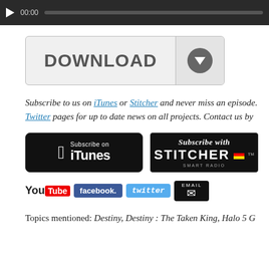[Figure (screenshot): Audio player bar with play button, 00:00 time stamp, and progress bar on dark background]
[Figure (screenshot): Download button with arrow icon]
Subscribe to us on iTunes or Stitcher and never miss an episode. Twitter pages for up to date news on all projects. Contact us by
[Figure (screenshot): Subscribe on iTunes badge (black)]
[Figure (screenshot): Subscribe with Stitcher Smart Radio badge (black)]
[Figure (screenshot): Social media badges: YouTube, Facebook, Twitter, Email]
Topics mentioned: Destiny, Destiny : The Taken King, Halo 5 G